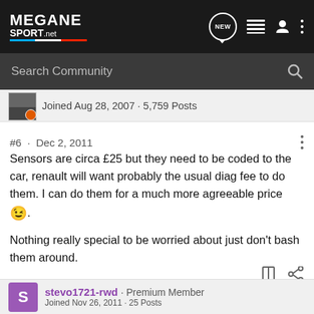MEGANE SPORT.net
Search Community
Joined Aug 28, 2007 · 5,759 Posts
#6 · Dec 2, 2011
Sensors are circa £25 but they need to be coded to the car, renault will want probably the usual diag fee to do them. I can do them for a much more agreeable price 😉.
Nothing really special to be worried about just don't bash them around.
stevo1721-rwd · Premium Member
Joined Nov 26, 2011 · 25 Posts